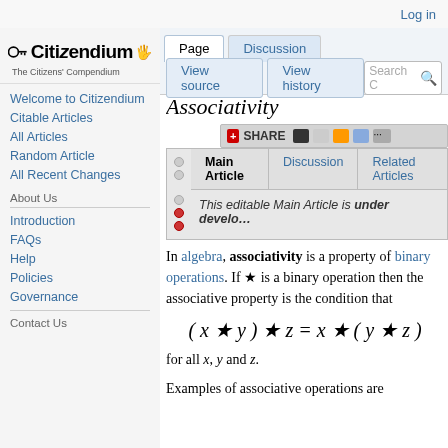Log in
[Figure (logo): Citizendium - The Citizens' Compendium logo with key icon]
Welcome to Citizendium
Citable Articles
All Articles
Random Article
All Recent Changes
About Us
Introduction
FAQs
Help
Policies
Governance
Contact Us
Associativity
| Main Article | Discussion | Related Articles |
| --- | --- | --- |
| This editable Main Article is under develo… |  |  |
In algebra, associativity is a property of binary operations. If ★ is a binary operation then the associative property is the condition that
for all x, y and z.
Examples of associative operations are addition and multiplication of int…